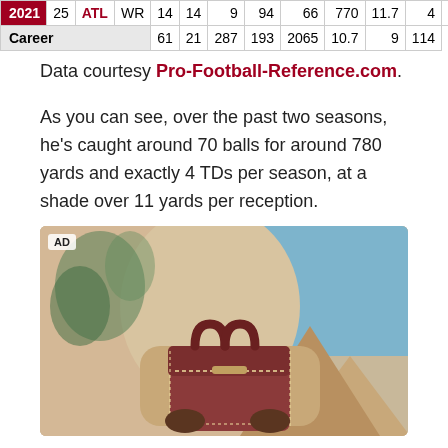| Year |  | Team | Pos | G | GS | Tgt | Rec | Yds | Y/R | TD | Lng |
| --- | --- | --- | --- | --- | --- | --- | --- | --- | --- | --- | --- |
| 2021 | 25 | ATL | WR | 14 | 14 | 9 | 94 | 66 | 770 | 11.7 | 4 | 37 |
| Career |  |  |  | 61 | 21 | 287 | 193 | 2065 | 10.7 | 9 | 114 |
Data courtesy Pro-Football-Reference.com.
As you can see, over the past two seasons, he's caught around 70 balls for around 780 yards and exactly 4 TDs per season, at a shade over 11 yards per reception.
[Figure (photo): Advertisement image showing a person holding a brown leather handbag against a sandy/blue sky background. AD label in top left corner.]